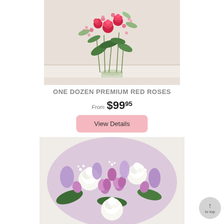[Figure (photo): A floral arrangement with red roses, pink flowers, and green foliage in a glass vase against a white brick wall background]
ONE DOZEN PREMIUM RED ROSES
From $99.95
View Details
[Figure (photo): A floral bouquet with white roses, purple alstroemeria, lavender stock flowers, and baby's breath]
to top